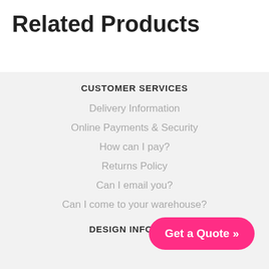Related Products
CUSTOMER SERVICES
Delivery Information
Online Payments & Security
How can I pay?
Returns Policy
Can I email you?
Can I come to your warehouse?
DESIGN INFORMATION
[Figure (other): Pink 'Get a Quote »' call-to-action button, rounded pill shape, bottom right corner]